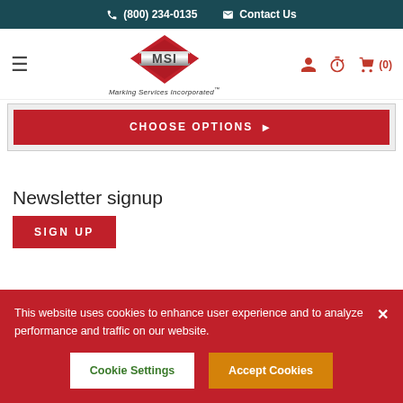(800) 234-0135  Contact Us
[Figure (logo): MSI Marking Services Incorporated logo — red diamond shape with metallic MSI letters, tagline 'Marking Services Incorporated']
CHOOSE OPTIONS ▶
Newsletter signup
SIGN UP
This website uses cookies to enhance user experience and to analyze performance and traffic on our website.
Cookie Settings  Accept Cookies